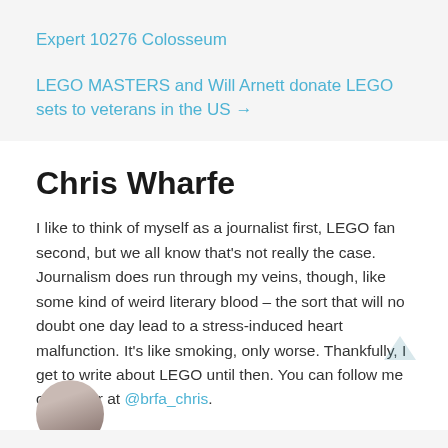Expert 10276 Colosseum
LEGO MASTERS and Will Arnett donate LEGO sets to veterans in the US →
Chris Wharfe
I like to think of myself as a journalist first, LEGO fan second, but we all know that's not really the case. Journalism does run through my veins, though, like some kind of weird literary blood – the sort that will no doubt one day lead to a stress-induced heart malfunction. It's like smoking, only worse. Thankfully, I get to write about LEGO until then. You can follow me on Twitter at @brfa_chris.